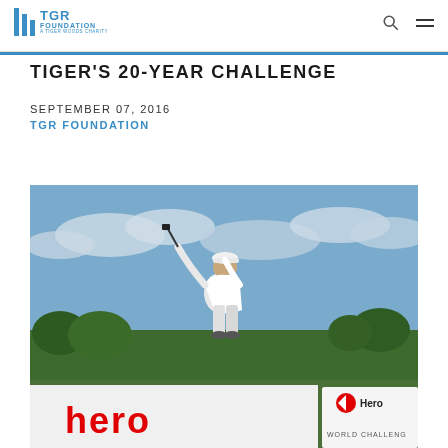TGR FOUNDATION — A TIGER WOODS CHARITY
TIGER'S 20-YEAR CHALLENGE
SEPTEMBER 07, 2016
TGR FOUNDATION
[Figure (photo): Golfer (Tiger Woods) swinging a golf club at height, wearing white outfit and cap, blue sky with clouds in background. A large white banner at the bottom shows 'Hero World Challenge' branding with red Hero logo text.]